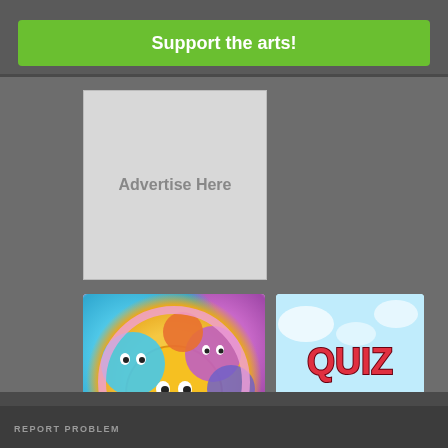[Figure (infographic): Green button banner reading 'Support the arts!' on dark gray background]
[Figure (infographic): Gray advertisement placeholder box reading 'Advertise Here']
[Figure (infographic): Colorful game app image with blob characters on pink/purple background, with a black Google Play download badge below]
[Figure (infographic): Quiz Bash game promotional image with colorful logo text and cartoon characters on light blue background]
REPORT PROBLEM